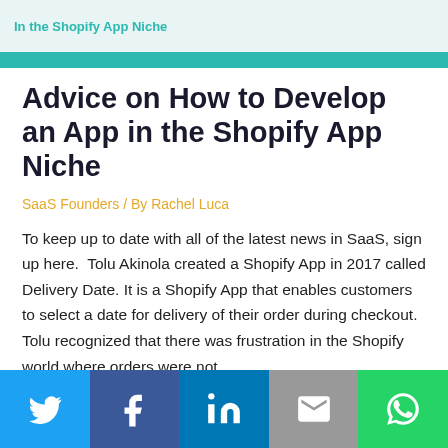[Figure (screenshot): Top banner with teal background and text 'In the Shopify App Niche']
Advice on How to Develop an App in the Shopify App Niche
SaaS Founders / By Rachel Luca
To keep up to date with all of the latest news in SaaS, sign up here.  Tolu Akinola created a Shopify App in 2017 called Delivery Date. It is a Shopify App that enables customers to select a date for delivery of their order during checkout. Tolu recognized that there was frustration in the Shopify world where orders were not ...
[Figure (infographic): Social share bar with Twitter, Facebook, LinkedIn, Email, and WhatsApp buttons]